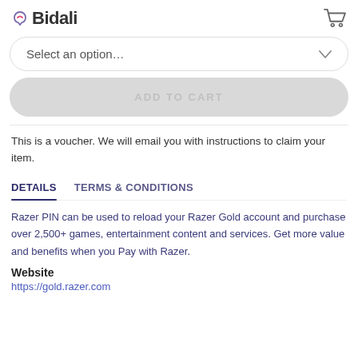S Bidali
Select an option…
ADD TO CART
This is a voucher. We will email you with instructions to claim your item.
DETAILS   TERMS & CONDITIONS
Razer PIN can be used to reload your Razer Gold account and purchase over 2,500+ games, entertainment content and services. Get more value and benefits when you Pay with Razer.
Website
https://gold.razer.com